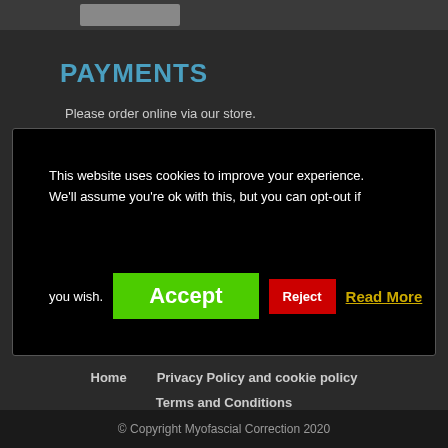PAYMENTS
Please order online via our store.
This website uses cookies to improve your experience. We'll assume you're ok with this, but you can opt-out if you wish. Accept | Reject | Read More
Home
Privacy Policy and cookie policy
Terms and Conditions
Instrument care and use
Contact us
© Copyright Myofascial Correction 2020